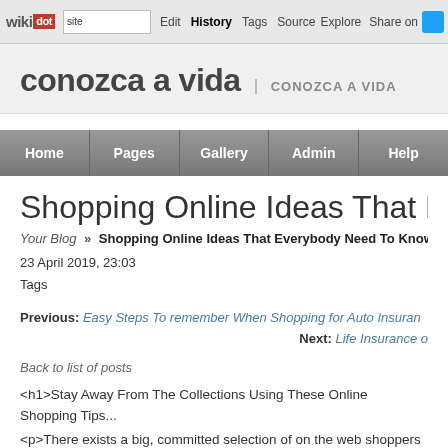wikidot | site | Edit | History | Tags | Source | Explore | Share on [Twitter]
conozca a vida | CONOZCA A VIDA
Home | Pages | Gallery | Admin | Help
Shopping Online Ideas That Everybody N...
Your Blog » Shopping Online Ideas That Everybody Need To Know
23 April 2019, 23:03
Tags
Previous: Easy Steps To remember When Shopping for Auto Insura...
Next: Life Insurance o...
Back to list of posts
<h1>Stay Away From The Collections Using These Online Shopping Tips...
<p>There exists a big, committed selection of on the web shoppers out th... you just are not able to overcome the cost and simplicity of buying...